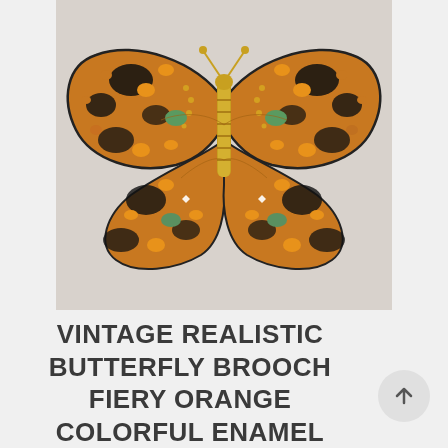[Figure (photo): A vintage realistic butterfly brooch with fiery orange and brown enamel wings featuring black markings, green accents, and gold-tone metallic body and wing details, photographed against a light gray/beige background.]
VINTAGE REALISTIC BUTTERFLY BROOCH FIERY ORANGE COLORFUL ENAMEL OVER DETAILED GOLD TONE